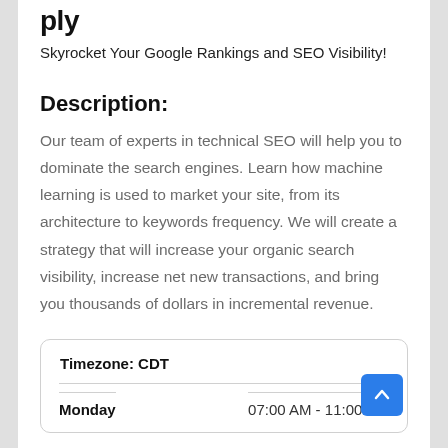…ply…
Skyrocket Your Google Rankings and SEO Visibility!
Description:
Our team of experts in technical SEO will help you to dominate the search engines. Learn how machine learning is used to market your site, from its architecture to keywords frequency. We will create a strategy that will increase your organic search visibility, increase net new transactions, and bring you thousands of dollars in incremental revenue.
| Timezone: CDT |  |
| --- | --- |
| Monday | 07:00 AM - 11:00 PM |